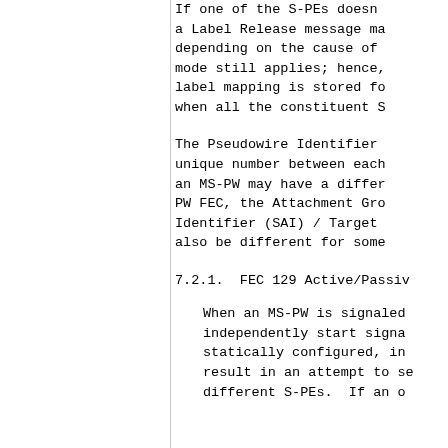If one of the S-PEs doesn't a Label Release message ma depending on the cause of mode still applies; hence, label mapping is stored fo when all the constituent S
The Pseudowire Identifier unique number between each an MS-PW may have a differ PW FEC, the Attachment Gro Identifier (SAI) / Target also be different for some
7.2.1.  FEC 129 Active/Passiv
When an MS-PW is signaled independently start signa statically configured, in result in an attempt to se different S-PEs.  If an o